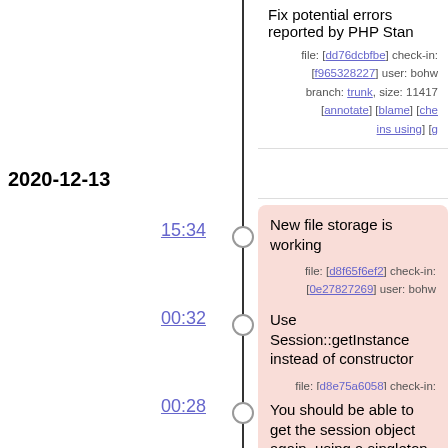Fix potential errors reported by PHP Stan - file: [dd76dcbfbe] check-in: [f965328227] user: bohw branch: trunk, size: 11417 [annotate] [blame] [check-ins using] [g
2020-12-13
15:34
New file storage is working - file: [d8f65f6ef2] check-in: [0e27827269] user: bohw branch: dev, size: 11859 [annotate] [blame] [check-ins using] [g
00:32
Use Session::getInstance instead of constructor - file: [d8e75a6058] check-in: [d3afacb8] user: bohwaz, branch: dev, size: 11718 [annota [blame] [check-ins using] [g
00:28
You should be able to get the session object again, using a singleton - file: [ede47cc742] check-in: [ed012f894f] user: bohw branch: dev, size: 11729 [annotate] [blame] [che ins using] [g